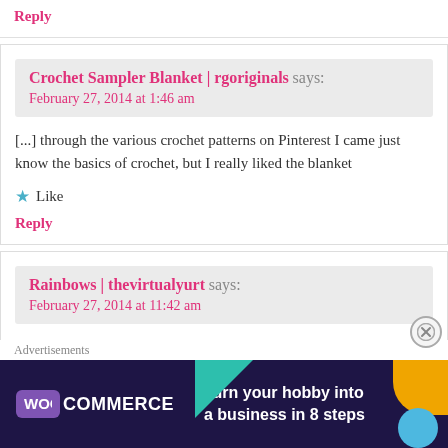Reply
Crochet Sampler Blanket | rgoriginals says:
February 27, 2014 at 1:46 am
[...] through the various crochet patterns on Pinterest I came just know the basics of crochet, but I really liked the blanket
Like
Reply
Rainbows | thevirtualyurt says:
February 27, 2014 at 11:42 am
[...] me to write this blog post. As you know if you have visited blanket and having a little crochet-a-long on FB. (you can
[Figure (screenshot): WooCommerce advertisement banner: 'Turn your hobby into a business in 8 steps' with teal, orange, and blue geometric shapes on dark purple background. Close button (X) in circle at bottom right.]
Advertisements